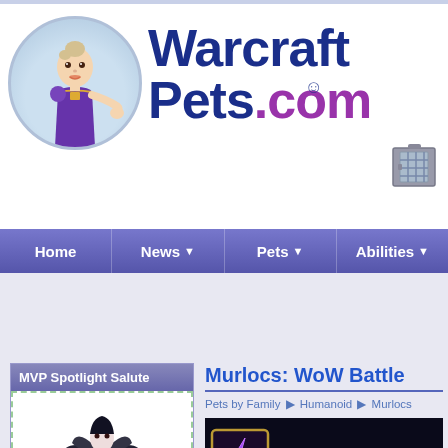[Figure (logo): WarcraftPets.com website logo with animated character, site name text, and cage icon]
[Figure (screenshot): Navigation bar with Home, News, Pets, Abilities menu items]
MVP Spotlight Salute
[Figure (illustration): Dark fantasy character with wings illustration inside green dashed border box]
Murlocs: WoW Battle...
Pets by Family ▶ Humanoid ▶ Murlocs
[Figure (screenshot): Article image showing Soul-T... text on dark background with purple icon]